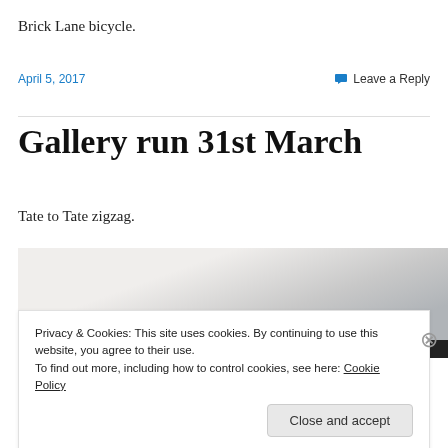Brick Lane bicycle.
April 5, 2017
💬 Leave a Reply
Gallery run 31st March
Tate to Tate zigzag.
[Figure (photo): Partial view of an artwork or gallery image, light tones with a diagonal pale shape, cropped.]
Privacy & Cookies: This site uses cookies. By continuing to use this website, you agree to their use.
To find out more, including how to control cookies, see here: Cookie Policy
Close and accept